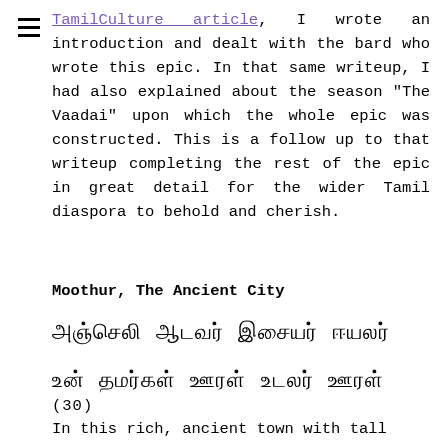TamilCulture article, I wrote an introduction and dealt with the bard who wrote this epic. In that same writeup, I had also explained about the season “The Vaadai” upon which the whole epic was constructed. This is a follow up to that writeup completing the rest of the epic in great detail for the wider Tamil diaspora to behold and cherish.
Moothur, The Ancient City
அஞ்சொலி ஆடவர் இசையர் ஈயலர்
உன் தமர்கள் ஊரள் ஋டலர் ஊரள் (30)
In this rich, ancient town with tall